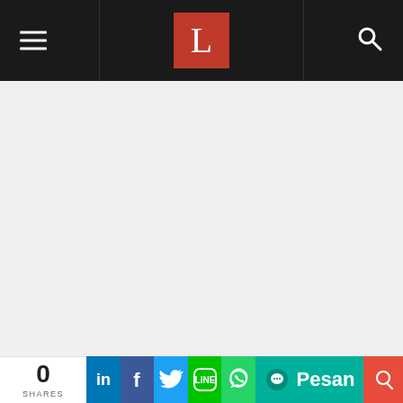Navigation bar with hamburger menu, L logo, and search icon
[Figure (screenshot): Large blank/light gray content area below navigation bar]
[Figure (infographic): Social share bar showing 0 SHARES, LinkedIn, Facebook, Twitter, LINE, WhatsApp, Pesan (teal chat button), and a red button]